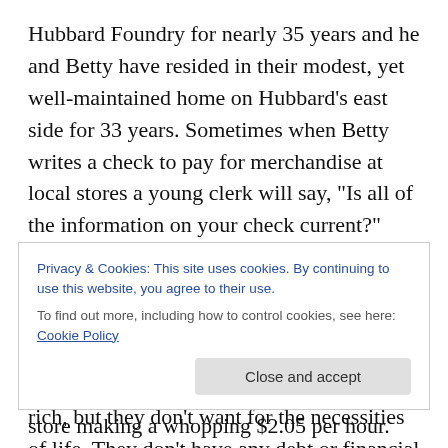Hubbard Foundry for nearly 35 years and he and Betty have resided in their modest, yet well-maintained home on Hubbard's east side for 33 years. Sometimes when Betty writes a check to pay for merchandise at local stores a young clerk will say, “Is all of the information on your check current?” Betty loves to reply, “Yes, Dear, since before you were born!” The Harnacks have raised their two sons on the east end and their work ethic and dependability have allowed them to live a good life. They’re not rich, but they don’t want for the necessities of life. They don’t have any debt or financial worries. This is a far cry from the first four
Privacy & Cookies: This site uses cookies. By continuing to use this website, you agree to their use.
To find out more, including how to control cookies, see here: Cookie Policy
Close and accept
store making a whopping $2.05 per hour. His wife Betty